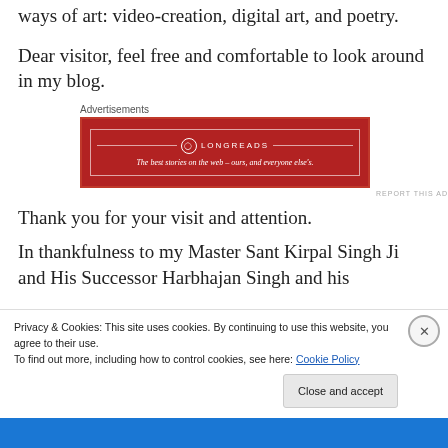ways of art: video-creation, digital art, and poetry.
Dear visitor, feel free and comfortable to look around in my blog.
[Figure (other): Longreads advertisement banner: red background with white text 'LONGREADS' and tagline 'The best stories on the web – ours, and everyone else's.']
Thank you for your visit and attention.
In thankfulness to my Master Sant Kirpal Singh Ji
Privacy & Cookies: This site uses cookies. By continuing to use this website, you agree to their use.
To find out more, including how to control cookies, see here: Cookie Policy
Close and accept